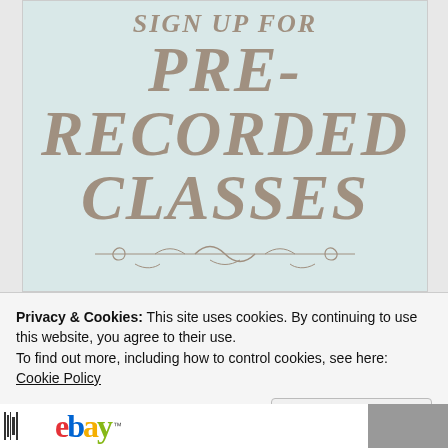[Figure (illustration): Light blue-green banner image with decorative serif text reading 'SIGN UP FOR PRE-RECORDED CLASSES' in gray, with ornamental divider at the bottom.]
Privacy & Cookies: This site uses cookies. By continuing to use this website, you agree to their use.
To find out more, including how to control cookies, see here: Cookie Policy
Close and accept
[Figure (logo): eBay logo and a partial photo at bottom of page.]